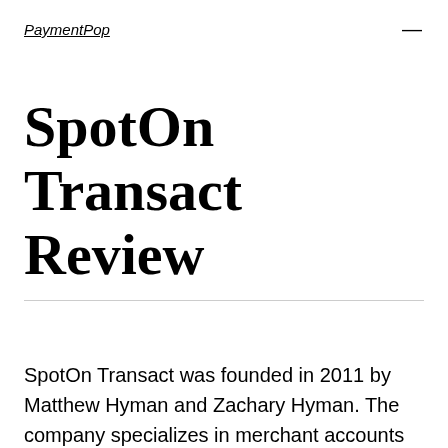PaymentPop
SpotOn Transact Review
SpotOn Transact was founded in 2011 by Matthew Hyman and Zachary Hyman. The company specializes in merchant accounts for